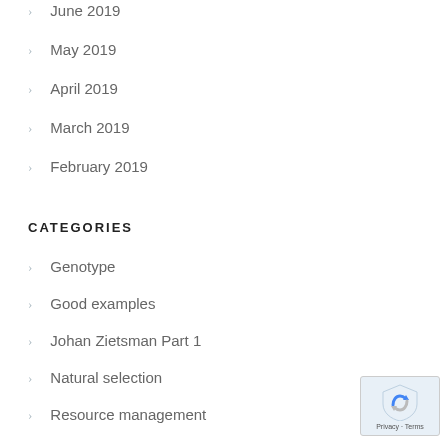June 2019
May 2019
April 2019
March 2019
February 2019
CATEGORIES
Genotype
Good examples
Johan Zietsman Part 1
Natural selection
Resource management